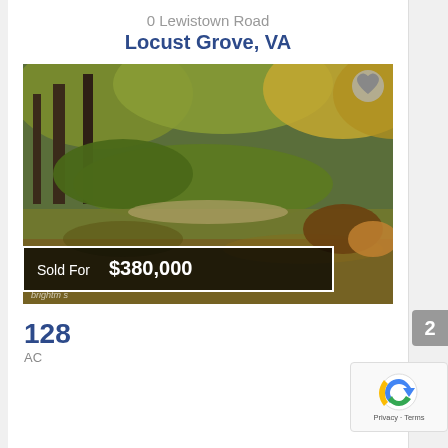0 Lewistown Road
Locust Grove, VA
[Figure (photo): Aerial or ground-level photo of a wooded creek/river scene with autumn foliage, reflections in calm water, showing a natural landscape property. Overlay banner reads 'Sold For $380,000'.]
128
AC